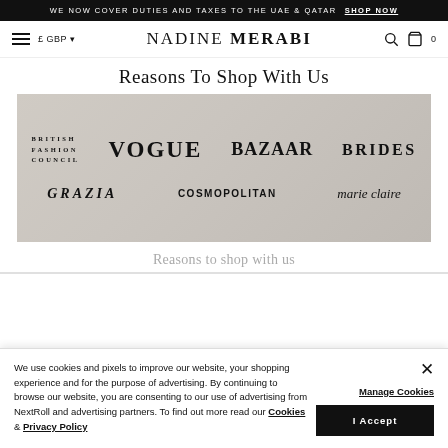WE NOW COVER DUTIES AND TAXES TO THE UAE & QATAR  SHOP NOW
≡  £ GBP ▾   NADINE MERABI   🔍  🛍 0
Reasons To Shop With Us
[Figure (photo): Press logos on a lace fabric background: British Fashion Council, VOGUE, BAZAAR, BRIDES, GRAZIA, COSMOPOLITAN, marie claire]
Reasons to shop with us
We use cookies and pixels to improve our website, your shopping experience and for the purpose of advertising. By continuing to browse our website, you are consenting to our use of advertising from NextRoll and advertising partners. To find out more read our Cookies & Privacy Policy
Manage Cookies
I Accept